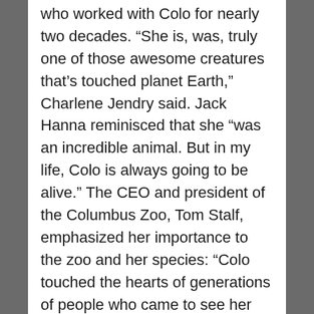who worked with Colo for nearly two decades. “She is, was, truly one of those awesome creatures that’s touched planet Earth,” Charlene Jendry said. Jack Hanna reminisced that she “was an incredible animal. But in my life, Colo is always going to be alive.” The CEO and president of the Columbus Zoo, Tom Stalf, emphasized her importance to the zoo and her species: “Colo touched the hearts of generations of people who came to see her and those that cared for her over her long lifetime. She was an ambassador for gorillas and inspired people to learn more about the critically endangered species and motivated them to protect gorillas in their native habitat.” Zoo visitors expressed condolences on a large banner and left items in her honor. Colo was